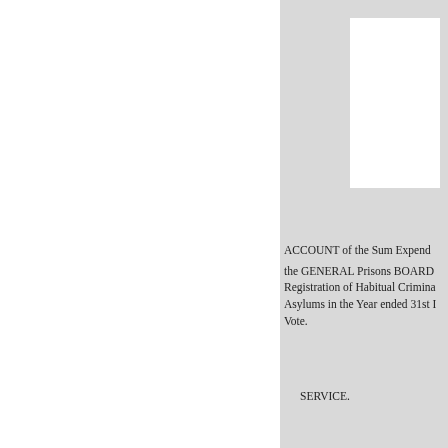[Figure (other): White rectangular box on grey background, partially cut off at right edge — likely a label or stamp placeholder]
ACCOUNT of the Sum Expend the GENERAL Prisons BOARD Registration of Habitual Crimina Asylums in the Year ended 31st I Vote.
SERVICE.